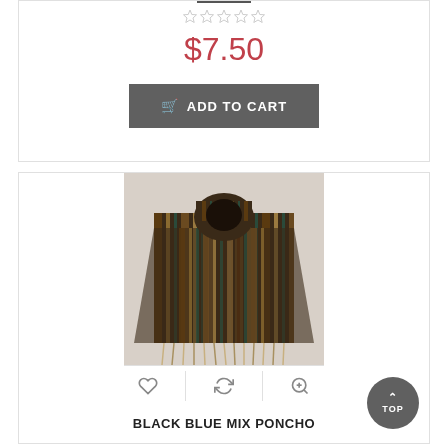$7.50
[Figure (screenshot): Add to Cart button with shopping cart icon, dark gray background]
[Figure (photo): A striped hooded poncho (black, brown, and blue mix) on a mannequin against a light gray background, with action icons below (heart, refresh, zoom)]
BLACK BLUE MIX PONCHO